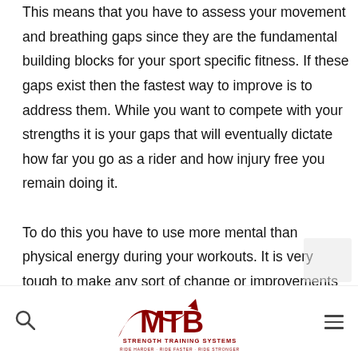This means that you have to assess your movement and breathing gaps since they are the fundamental building blocks for your sport specific fitness. If these gaps exist then the fastest way to improve is to address them. While you want to compete with your strengths it is your gaps that will eventually dictate how far you go as a rider and how injury free you remain doing it.

To do this you have to use more mental than physical energy during your workouts. It is very tough to make any sort of change or improvements when you are ex... working or... moving or brea... to work...
MTB STRENGTH TRAINING SYSTEMS · RIDE HARDER · RIDE FASTER · RIDE STRONGER